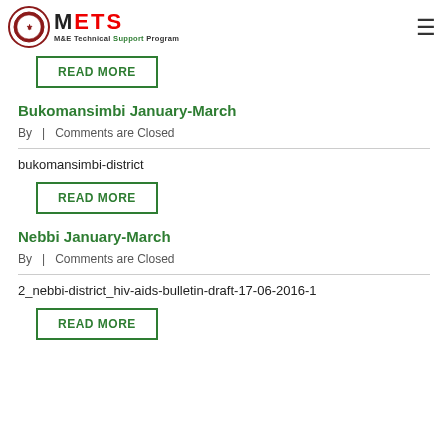METS - M&E Technical Support Program
READ MORE
Bukomansimbi January-March
By  |  Comments are Closed
bukomansimbi-district
READ MORE
Nebbi January-March
By  |  Comments are Closed
2_nebbi-district_hiv-aids-bulletin-draft-17-06-2016-1
READ MORE